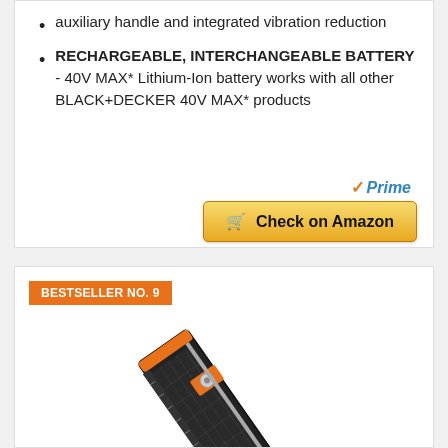auxiliary handle and integrated vibration reduction
RECHARGEABLE, INTERCHANGEABLE BATTERY - 40V MAX* Lithium-Ion battery works with all other BLACK+DECKER 40V MAX* products
[Figure (logo): Amazon Prime logo with checkmark and 'Prime' text in blue italic]
[Figure (other): Check on Amazon button with cart icon, gold gradient background]
BESTSELLER NO. 9
[Figure (photo): Paper trimmer/cutter product photo with black and orange design, shown at an angle]